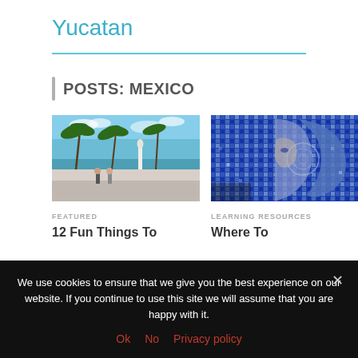Yucatan
POSTS: MEXICO
[Figure (photo): Beach scene with palm trees bending in wind, a white statue/monument, people walking on a white promenade, blue sky and calm sea in background]
[Figure (photo): Close-up of a colorful mosaic artwork depicting a woman's face in profile with blue tones, intricate tile pattern]
FEATURED
12 Fun Things To
LEARNING RESOURCES
Where To
We use cookies to ensure that we give you the best experience on our website. If you continue to use this site we will assume that you are happy with it.
Ok   No   Privacy policy